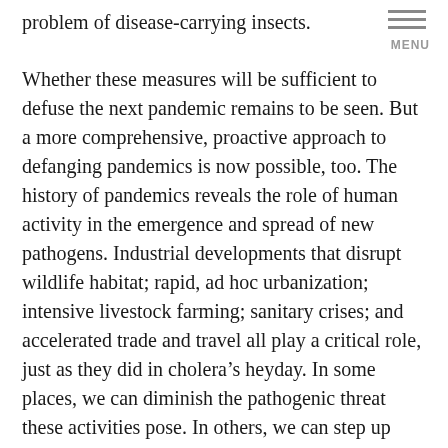problem of disease-carrying insects.
Whether these measures will be sufficient to defuse the next pandemic remains to be seen. But a more comprehensive, proactive approach to defanging pandemics is now possible, too. The history of pandemics reveals the role of human activity in the emergence and spread of new pathogens. Industrial developments that disrupt wildlife habitat; rapid, ad hoc urbanization; intensive livestock farming; sanitary crises; and accelerated trade and travel all play a critical role, just as they did in cholera’s heyday. In some places, we can diminish the pathogenic threat these activities pose. In others, we can step up surveillance for new pathogens, using new microbial sleuthing techniques. And when we find the next pandemic-worthy pathogen, we can work to contain it—before it starts to spread.